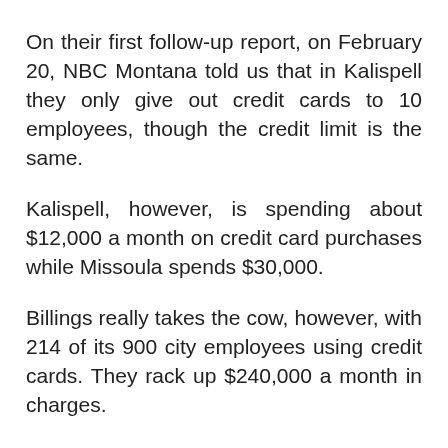On their first follow-up report, on February 20, NBC Montana told us that in Kalispell they only give out credit cards to 10 employees, though the credit limit is the same.
Kalispell, however, is spending about $12,000 a month on credit card purchases while Missoula spends $30,000.
Billings really takes the cow, however, with 214 of its 900 city employees using credit cards. They rack up $240,000 a month in charges.
The Missoula City Council doesn't